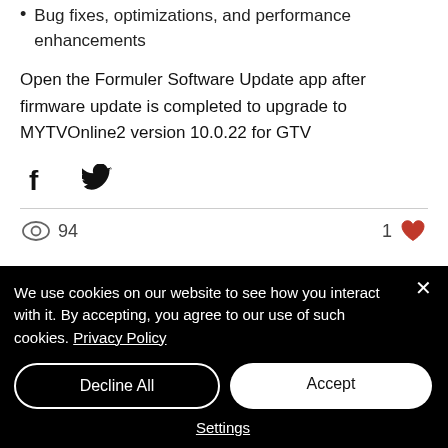Bug fixes, optimizations, and performance enhancements
Open the Formuler Software Update app after firmware update is completed to upgrade to MYTVOnline2 version 10.0.22 for GTV
[Figure (other): Social share icons: Facebook and Twitter]
94 views, 1 like
We use cookies on our website to see how you interact with it. By accepting, you agree to our use of such cookies. Privacy Policy
Decline All | Accept | Settings